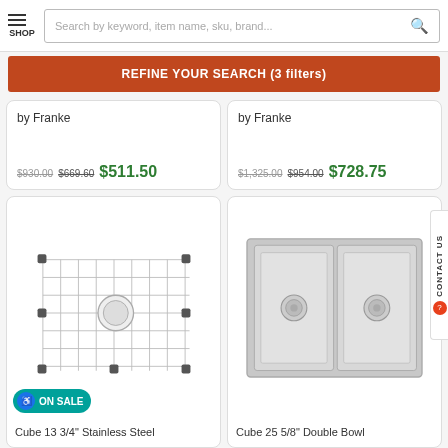SHOP — Search by keyword, item name, sku, brand...
REFINE YOUR SEARCH (3 filters)
by Franke
$930.00  $669.60  $511.50
by Franke
$1,325.00  $954.00  $728.75
[Figure (photo): Stainless steel sink grid with rubber feet and central drain cutout]
ON SALE
Cube 13 3/4" Stainless Steel
[Figure (photo): Stainless steel double bowl undermount sink viewed from above]
Cube 25 5/8" Double Bowl